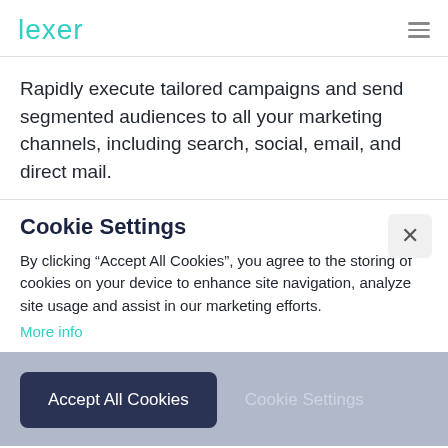Lexer
Rapidly execute tailored campaigns and send segmented audiences to all your marketing channels, including search, social, email, and direct mail.
Cookie Settings
By clicking “Accept All Cookies”, you agree to the storing of cookies on your device to enhance site navigation, analyze site usage and assist in our marketing efforts. More info